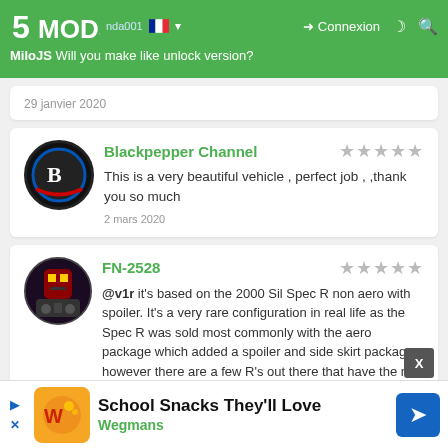5MODS | MiloJS Will you make like unlock version?
29 janvier 2020
Blackpepper Channel — This is a very beautiful vehicle , perfect job , ,thank you so much — 2 mars 2020
FN-2528 — @v1r it's based on the 2000 Sil Spec R non aero with spoiler. It's a very rare configuration in real life as the Spec R was sold most commonly with the aero package which added a spoiler and side skirt package, however there are a few R's out there that have the non aero kit. Hope that helps. Also fun fact about the car, they are known as Strawberries. — 15 mars 2020
School Snacks They'll Love — Wegmans